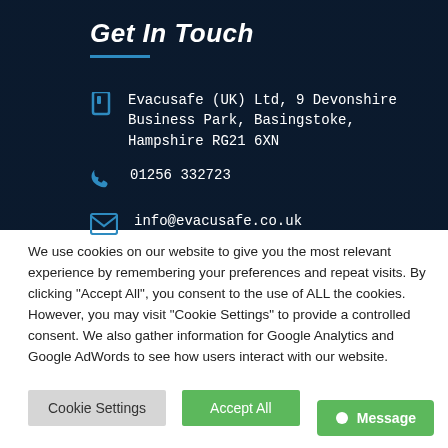Get In Touch
Evacusafe (UK) Ltd, 9 Devonshire Business Park, Basingstoke, Hampshire RG21 6XN
01256 332723
info@evacusafe.co.uk
We use cookies on our website to give you the most relevant experience by remembering your preferences and repeat visits. By clicking “Accept All”, you consent to the use of ALL the cookies. However, you may visit "Cookie Settings" to provide a controlled consent. We also gather information for Google Analytics and Google AdWords to see how users interact with our website.
Cookie Settings
Accept All
Message